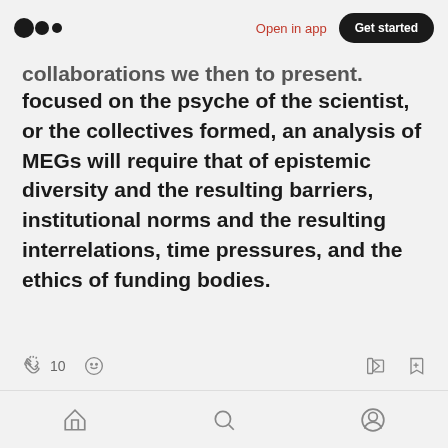Medium logo | Open in app | Get started
collaborations we then to present. Whether focused on the psyche of the scientist, or the collectives formed, an analysis of MEGs will require that of epistemic diversity and the resulting barriers, institutional norms and the resulting interrelations, time pressures, and the ethics of funding bodies.
[Figure (infographic): Interaction bar with clap icon showing 10 claps, comment icon, share icon, and bookmark icon]
[Figure (infographic): Floating pill button with clap icon, 10 count, divider, and comment icon]
Bottom navigation bar with home, search, and profile icons